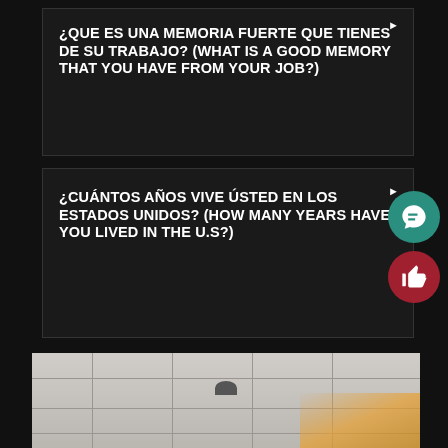¿QUE ES UNA MEMORIA FUERTE QUE TIENES DE SU TRABAJO? (WHAT IS A GOOD MEMORY THAT YOU HAVE FROM YOUR JOB?)
¿CUÁNTOS AÑOS VIVE ÚSTED EN LOS ESTADOS UNIDOS? (HOW MANY YEARS HAVE YOU LIVED IN THE U.S?)
[Figure (photo): Interior ceiling view of a building with tile ceiling panels, a security camera dome visible, and warm lighting in the background right]